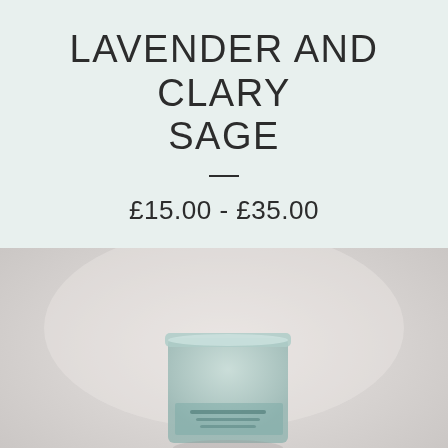LAVENDER AND CLARY SAGE
£15.00 - £35.00
[Figure (photo): A light blue/mint frosted glass candle jar with text on it, positioned centrally against a soft light background with blurred lavender or herb sprigs in the foreground.]